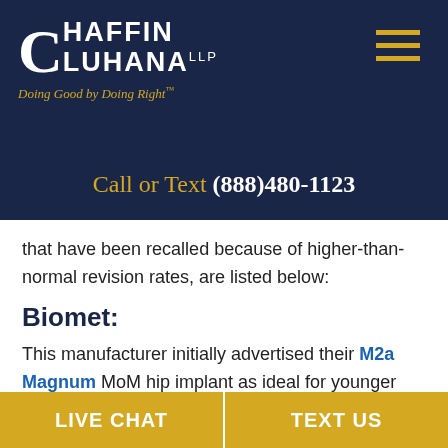[Figure (logo): Chaffin Luhana LLP law firm logo with tagline 'Doing Good by Doing Right' on dark navy background]
Call or Text (888)480-1123
that have been recalled because of higher-than-normal revision rates, are listed below:
Biomet:
This manufacturer initially advertised their M2a Magnum MoM hip implant as ideal for younger
LIVE CHAT | TEXT US